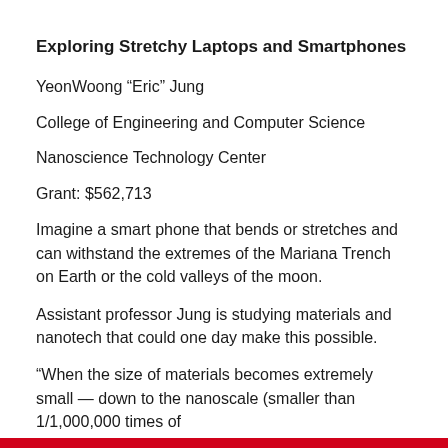Exploring Stretchy Laptops and Smartphones
YeonWoong “Eric” Jung
College of Engineering and Computer Science
Nanoscience Technology Center
Grant: $562,713
Imagine a smart phone that bends or stretches and can withstand the extremes of the Mariana Trench on Earth or the cold valleys of the moon.
Assistant professor Jung is studying materials and nanotech that could one day make this possible.
“When the size of materials becomes extremely small — down to the nanoscale (smaller than 1/1,000,000 times of